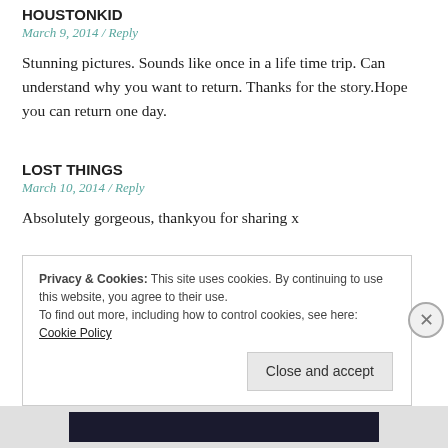HOUSTONKID
March 9, 2014 / Reply
Stunning pictures. Sounds like once in a life time trip. Can understand why you want to return. Thanks for the story.Hope you can return one day.
LOST THINGS
March 10, 2014 / Reply
Absolutely gorgeous, thankyou for sharing x
Privacy & Cookies: This site uses cookies. By continuing to use this website, you agree to their use. To find out more, including how to control cookies, see here: Cookie Policy
Close and accept